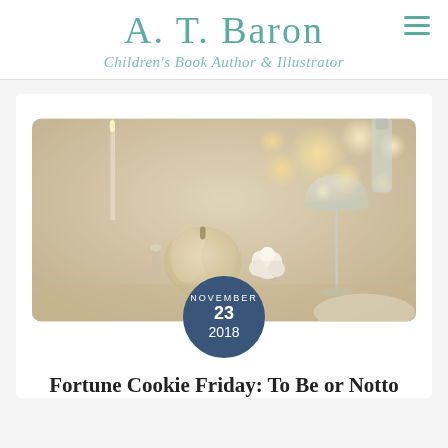A. T. Baron
Children's Book Author & Illustrator
[Figure (photo): Elegant table setting with white pumpkins, white roses, candles, a coupe glass, and bokeh lighting in the background. Holiday/Thanksgiving themed table decor in soft whites and golds.]
NOVEMBER 23 2018
Fortune Cookie Friday: To Be or Notto